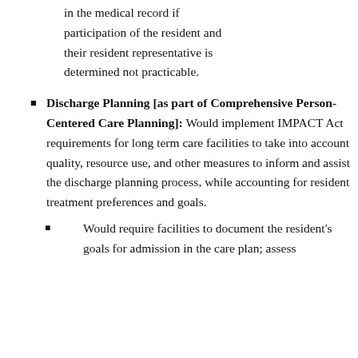in the medical record if participation of the resident and their resident representative is determined not practicable.
Discharge Planning [as part of Comprehensive Person-Centered Care Planning]: Would implement IMPACT Act requirements for long term care facilities to take into account quality, resource use, and other measures to inform and assist the discharge planning process, while accounting for resident treatment preferences and goals.
Would require facilities to document the resident's goals for admission in the care plan; assess...